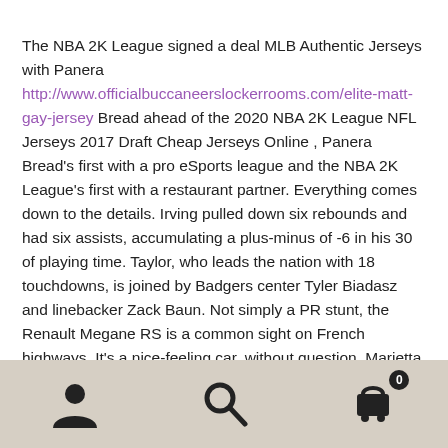The NBA 2K League signed a deal MLB Authentic Jerseys with Panera http://www.officialbuccaneerslockerrooms.com/elite-matt-gay-jersey Bread ahead of the 2020 NBA 2K League NFL Jerseys 2017 Draft Cheap Jerseys Online , Panera Bread's first with a pro eSports league and the NBA 2K League's first with a restaurant partner. Everything comes down to the details. Irving pulled down six rebounds and had six assists, accumulating a plus-minus of -6 in his 30 of playing time. Taylor, who leads the nation with 18 touchdowns, is joined by Badgers center Tyler Biadasz and linebacker Zack Baun. Not simply a PR stunt, the Renault Megane RS is a common sight on French highways. It's a nice-feeling car, without question, Marietta says. He said he worked with personal trainer Jeff Christensen and did
[Figure (other): Mobile navigation footer bar with three icons: user/person icon, search/magnifying glass icon, and shopping cart icon with badge showing 0]